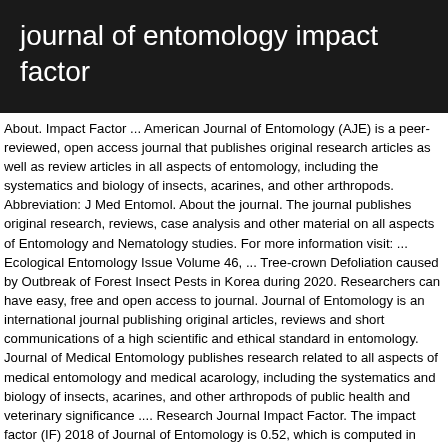journal of entomology impact factor
About. Impact Factor ... American Journal of Entomology (AJE) is a peer-reviewed, open access journal that publishes original research articles as well as review articles in all aspects of entomology, including the systematics and biology of insects, acarines, and other arthropods. Abbreviation: J Med Entomol. About the journal. The journal publishes original research, reviews, case analysis and other material on all aspects of Entomology and Nematology studies. For more information visit: ... Ecological Entomology Issue Volume 46, ... Tree-crown Defoliation caused by Outbreak of Forest Insect Pests in Korea during 2020. Researchers can have easy, free and open access to journal. Journal of Entomology is an international journal publishing original articles, reviews and short communications of a high scientific and ethical standard in entomology. Journal of Medical Entomology publishes research related to all aspects of medical entomology and medical acarology, including the systematics and biology of insects, acarines, and other arthropods of public health and veterinary significance .... Research Journal Impact Factor. The impact factor (IF) 2018 of Journal of Entomology is 0.52, which is computed in 2019 as per it's definition.Journal of Entomology IF is increased by a factor of 0.2 and